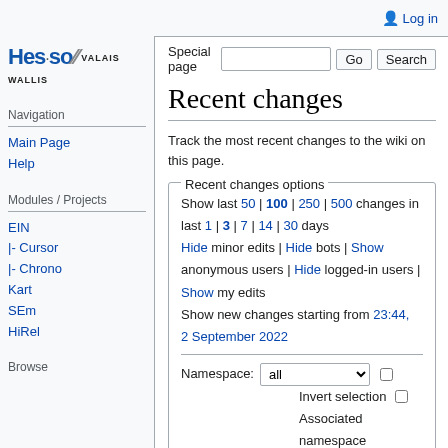Log in
[Figure (logo): Hes-SO Valais Wallis logo]
Navigation
Main Page
Help
Modules / Projects
EIN
|- Cursor
|- Chrono
Kart
SEm
HiRel
Browse
Special page
Recent changes
Track the most recent changes to the wiki on this page.
Recent changes options — Show last 50 | 100 | 250 | 500 changes in last 1 | 3 | 7 | 14 | 30 days Hide minor edits | Hide bots | Show anonymous users | Hide logged-in users | Show my edits Show new changes starting from 23:44, 2 September 2022 Namespace: all Invert selection Associated namespace Go